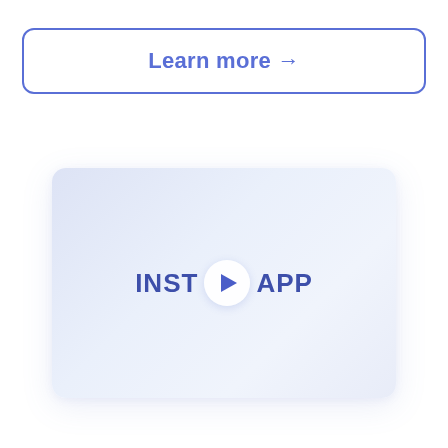Learn more →
[Figure (screenshot): A video thumbnail card with a light blue-white gradient background, showing the text 'INST APP' with a circular play button in between, representing an app introduction video player UI element.]